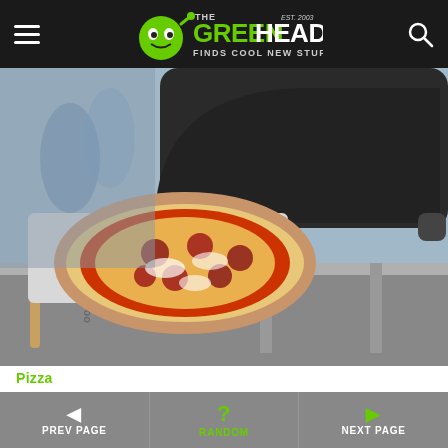The Green Head - Finds Cool New Stuff!
[Figure (photo): Ooni Koda 16 portable outdoor pizza oven on a metal table with flames visible inside, and a freshly baked pizza on a metal peel in the foreground]
Pizza
Ooni Koda 16 - Portable Outdoor Pizza Oven Bakes in Only 60 Seconds!
PREV PAGE   RANDOM   NEXT PAGE